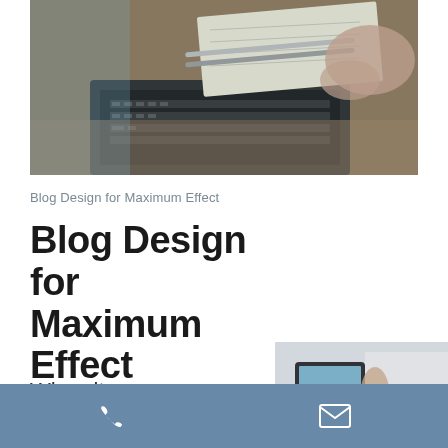[Figure (photo): Overhead view of people working at a desk with a laptop, papers with writing, and pens on a wooden table]
Blog Design for Maximum Effect
Blog Design for Maximum Effect
When it
[Figure (photo): Person in white shirt working with a tablet device on a desk]
Phone icon and Email icon